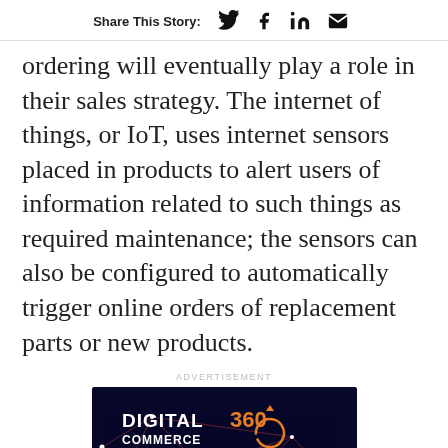Share This Story:
ordering will eventually play a role in their sales strategy. The internet of things, or IoT, uses internet sensors placed in products to alert users of information related to such things as required maintenance; the sensors can also be configured to automatically trigger online orders of replacement parts or new products.
ADVERTISEMENT
[Figure (screenshot): Digital Commerce 360 advertisement banner showing 'Global Ecommerce Rankings' with a dark blue background and orange/red network lines with glowing nodes. Text at bottom reads 'The Highest-Quality'. A scroll-to-top button with an upward arrow appears overlaid on the right side.]